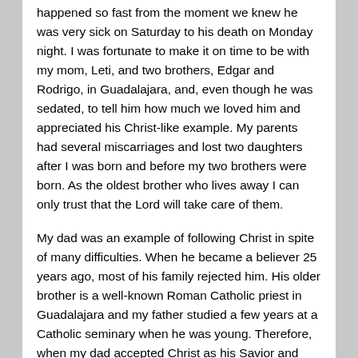happened so fast from the moment we knew he was very sick on Saturday to his death on Monday night. I was fortunate to make it on time to be with my mom, Leti, and two brothers, Edgar and Rodrigo, in Guadalajara, and, even though he was sedated, to tell him how much we loved him and appreciated his Christ-like example. My parents had several miscarriages and lost two daughters after I was born and before my two brothers were born. As the oldest brother who lives away I can only trust that the Lord will take care of them.
My dad was an example of following Christ in spite of many difficulties. When he became a believer 25 years ago, most of his family rejected him. His older brother is a well-known Roman Catholic priest in Guadalajara and my father studied a few years at a Catholic seminary when he was young. Therefore, when my dad accepted Christ as his Savior and Lord, he became the shame of his family. I remember his own mother calling him the “donkey” or “animal” for leaving the Roman Catholic Church and, thus becoming like an animal without the Church’s blessing. My father worked as an accountant in the Roman Catholic offices for almost 20